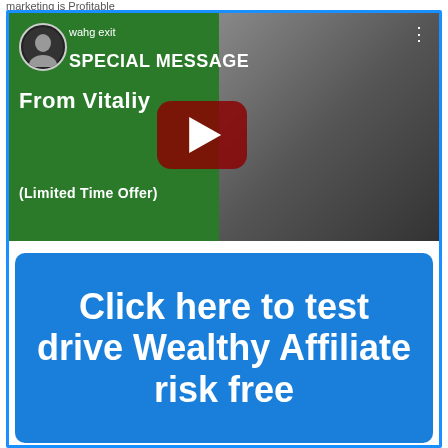marketing is Profitable
[Figure (screenshot): YouTube video thumbnail showing a man on the right side against a dark background, and green background on the left with text 'wahg exit SPECIAL MESSAGE FROM VITALIY (LIMITED TIME OFFER)'. A red YouTube play button is centered. A small avatar of a man in black is in the top left corner.]
Click here to test drive Wealthy Affiliate risk free